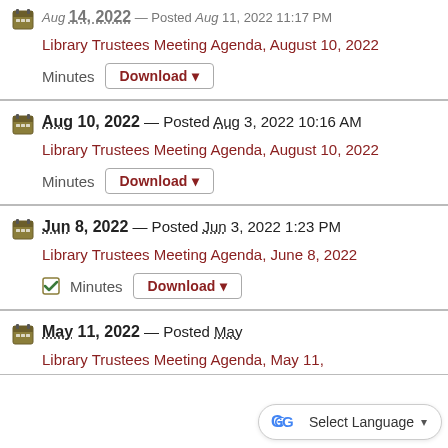Aug 14, 2022 — Posted Aug 11, 2022 11:17 PM
Library Trustees Meeting Agenda, August 10, 2022
Minutes Download
Aug 10, 2022 — Posted Aug 3, 2022 10:16 AM
Library Trustees Meeting Agenda, August 10, 2022
Minutes Download
Jun 8, 2022 — Posted Jun 3, 2022 1:23 PM
Library Trustees Meeting Agenda, June 8, 2022
Minutes Download
May 11, 2022 — Posted May
Library Trustees Meeting Agenda, May 11,